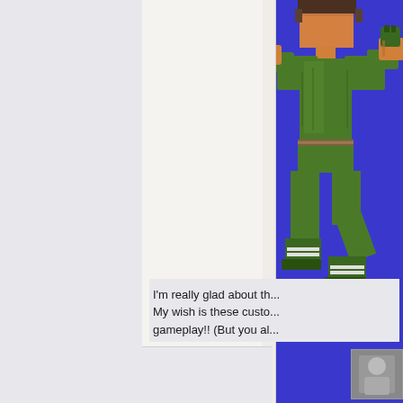[Figure (screenshot): Pixel art video game character sprite on blue background — appears to be a fighter/soldier character in green clothing, partially cropped, showing torso, arms and legs with boots]
I'm really glad about th... My wish is these custo... gameplay!! (But you al...
[Figure (photo): Small avatar image visible at bottom right corner, partially visible]